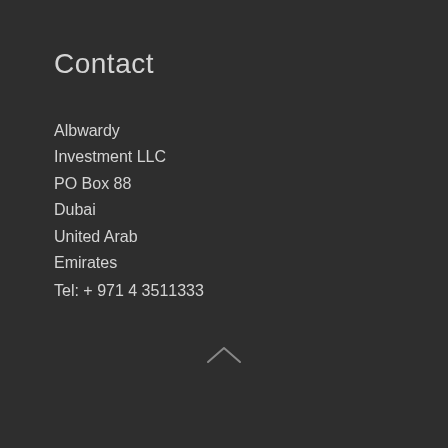Contact
Albwardy
Investment LLC
PO Box 88
Dubai
United Arab
Emirates
Tel: + 971 4 3511333
[Figure (other): Upward chevron arrow icon in gray]